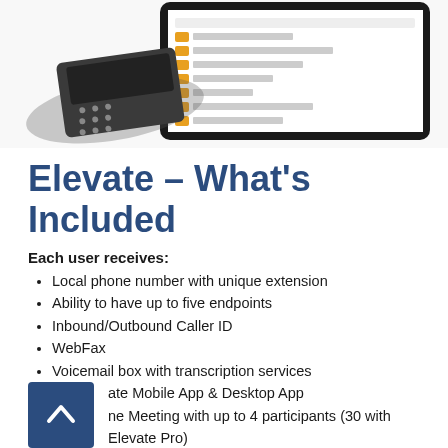[Figure (screenshot): Top portion of page showing a conference phone device next to a tablet displaying an application interface with orange folder icons and list items]
Elevate – What's Included
Each user receives:
Local phone number with unique extension
Ability to have up to five endpoints
Inbound/Outbound Caller ID
WebFax
Voicemail box with transcription services
Elevate Mobile App & Desktop App
Online Meeting with up to 4 participants (30 with Elevate Pro)